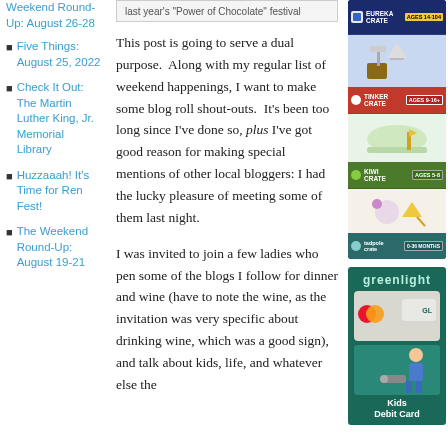Weekend Round-Up: August 26-28
Five Things: August 25, 2022
Check It Out: The Martin Luther King, Jr. Memorial Library
Huzzaaah! It's Time for Ren Fest!
The Weekend Round-Up: August 19-21
[Figure (screenshot): Image caption stub showing text 'last year's Power of Chocolate festival']
This post is going to serve a dual purpose.  Along with my regular list of weekend happenings, I want to make some blog roll shout-outs.  It's been too long since I've done so, plus I've got good reason for making special mentions of other local bloggers: I had the lucky pleasure of meeting some of them last night.
I was invited to join a few ladies who pen some of the blogs I follow for dinner and wine (have to note the wine, as the invitation was very specific about drinking wine, which was a good sign), and talk about kids, life, and whatever else the
[Figure (infographic): KiwiCo subscription box advertisement showing different age tiers: Eureka Crate (Ages 14-104), Tinker Crate (Ages 9-16+), Kiwi Crate (Ages 5-8), Tadpole Crate (0-36 Months)]
[Figure (infographic): Greenlight Kids Debit Card advertisement with teal background, showing a card and a child figure]